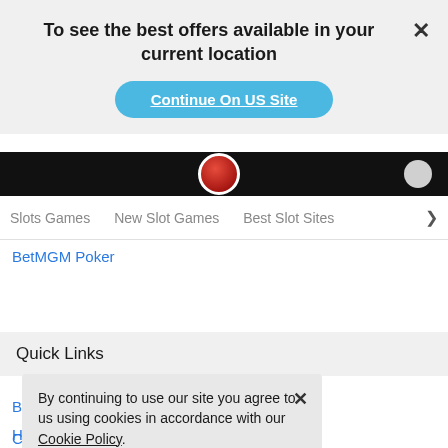To see the best offers available in your current location
Continue On US Site
Slots Games   New Slot Games   Best Slot Sites
BetMGM Poker
Quick Links
By continuing to use our site you agree to us using cookies in accordance with our Cookie Policy.
GOT IT
Casino Bonuses